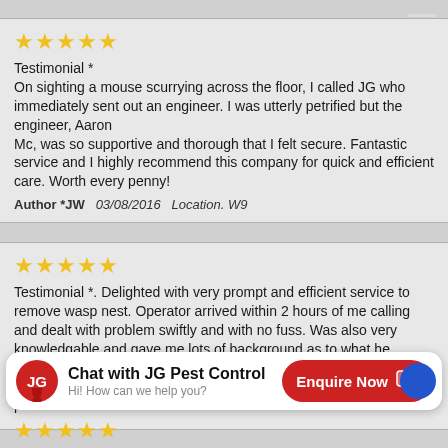[Figure (other): Five gold stars rating]
Testimonial * On sighting a mouse scurrying across the floor, I called JG who immediately sent out an engineer. I was utterly petrified but the engineer, Aaron Mc, was so supportive and thorough that I felt secure. Fantastic service and I highly recommend this company for quick and efficient care. Worth every penny!
Author *JW   03/08/2016   Location. W9
[Figure (other): Five gold stars rating]
Testimonial *. Delighted with very prompt and efficient service to remove wasp nest. Operator arrived within 2 hours of me calling and dealt with problem swiftly and with no fuss. Was also very knowledgable and gave me lots of background as to what he needed to do. Thank you very much, I wouldn't hesitate to recommend you and will certainly use you again if any more problems arise.
[Figure (other): Chat widget: JG Pest Control logo, Chat with JG Pest Control, Hi! How can we help you?, Enquire Now button]
[Figure (other): Five gold stars rating (partial, bottom of page)]